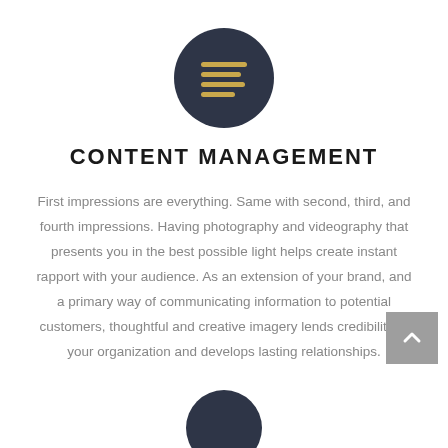[Figure (illustration): Dark navy circle with gold horizontal lines icon representing content management]
CONTENT MANAGEMENT
First impressions are everything. Same with second, third, and fourth impressions. Having photography and videography that presents you in the best possible light helps create instant rapport with your audience. As an extension of your brand, and a primary way of communicating information to potential customers, thoughtful and creative imagery lends credibility to your organization and develops lasting relationships.
[Figure (illustration): Partial dark navy circle icon at bottom of page]